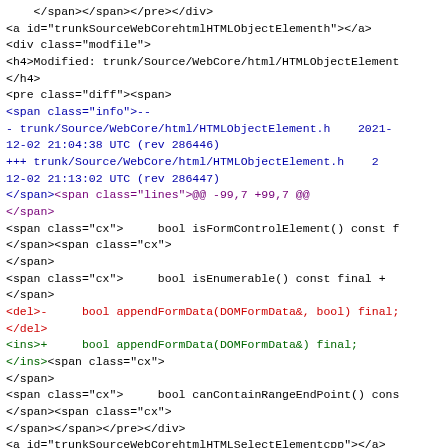</span></span></pre></div>
<a id="trunkSourceWebCorehtmlHTMLObjectelementh"></a>
<div class="modfile">
<h4>Modified: trunk/Source/WebCore/html/HTMLObjectElement</h4>
<pre class="diff"><span>
<span class="info">--
- trunk/Source/WebCore/html/HTMLObjectElement.h    2021-12-02 21:04:38 UTC (rev 286446)
+++ trunk/Source/WebCore/html/HTMLObjectElement.h    2
12-02 21:13:02 UTC (rev 286447)
</span><span class="lines">@@ -99,7 +99,7 @@
</span>
<span class="cx">     bool isFormControlElement() const f
</span><span class="cx">
</span>
<span class="cx">     bool isEnumerable() const final +
</span>
<del>-     bool appendFormData(DOMFormData&, bool) final;
</del>
<ins>+     bool appendFormData(DOMFormData&) final;
</ins><span class="cx">
</span>
<span class="cx">     bool canContainRangeEndPoint() cons
</span><span class="cx">
</span></span></pre></div>
<a id="trunkSourceWebCorehtmlHTMLSelectElementcpp"></a>
<div class="modfile">
<h4>Modified: trunk/Source/WebCore/html/HTMLSelectElement</h4>
</h4>